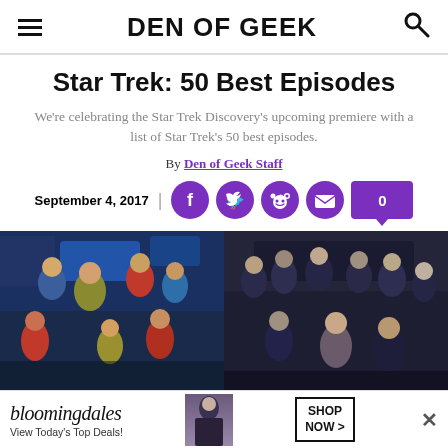DEN OF GEEK
Star Trek: 50 Best Episodes
We're celebrating the Star Trek Discovery's upcoming premiere with a list of Star Trek's 50 best episodes.
By Den of Geek Staff
September 4, 2017
[Figure (photo): Two side-by-side photos: left shows the original Star Trek TOS cast in colorful uniforms; right shows a Star Trek Enterprise cast in dark uniforms on a ship bridge.]
[Figure (advertisement): Bloomingdale's advertisement: 'bloomingdales View Today's Top Deals!' with a woman in a hat and a SHOP NOW button and close X.]